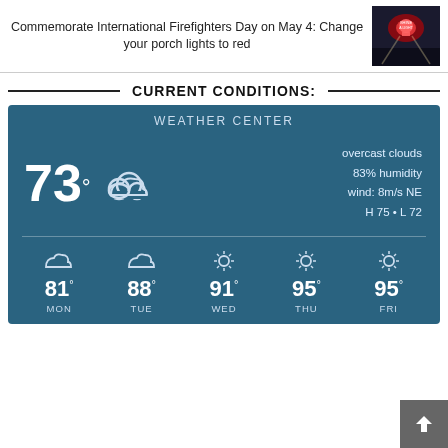Commemorate International Firefighters Day on May 4: Change your porch lights to red
[Figure (photo): Red-lit event photo with shine a light text]
CURRENT CONDITIONS:
[Figure (infographic): Weather center widget showing current conditions: 73° overcast clouds, 83% humidity, wind 8m/s NE, H 75 L 72, and 5-day forecast MON 81°, TUE 88°, WED 91°, THU 95°, FRI 95°]